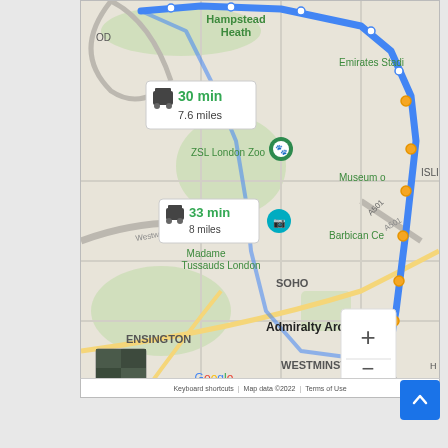[Figure (map): Google Maps screenshot showing driving routes from a northern London start point (near Hampstead Heath) to Admiralty Arch in central London. Two route options are displayed: Route 1 (blue highlighted) showing 30 min / 7.6 miles via Hampstead Heath and Emirates Stadium area; Route 2 showing 33 min / 8 miles. Key landmarks visible: ZSL London Zoo, Madame Tussauds London, Barbican Centre, Admiralty Arch, SOHO, WESTMINSTER, ENSINGTON, Museum. The route is shown as a blue dotted/dashed line with orange dots at stops. Zoom controls (+/-) visible at bottom right. Satellite thumbnail inset at bottom left. Google logo visible. Map data ©2022.]
Keyboard shortcuts | Map data ©2022 | Terms of Use